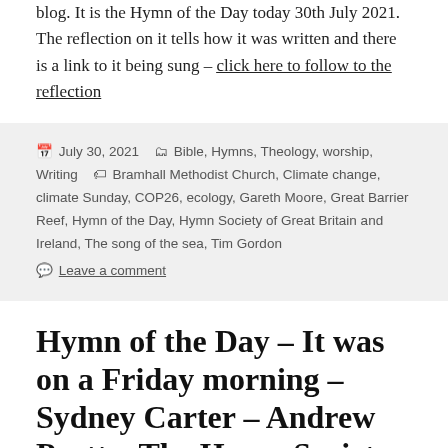blog. It is the Hymn of the Day today 30th July 2021. The reflection on it tells how it was written and there is a link to it being sung – click here to follow to the reflection
July 30, 2021   Bible, Hymns, Theology, worship, Writing   Bramhall Methodist Church, Climate change, climate Sunday, COP26, ecology, Gareth Moore, Great Barrier Reef, Hymn of the Day, Hymn Society of Great Britain and Ireland, The song of the sea, Tim Gordon   Leave a comment
Hymn of the Day – It was on a Friday morning – Sydney Carter – Andrew Pratt – The Hymn Society of Great Britain and Ireland